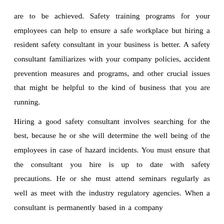are to be achieved. Safety training programs for your employees can help to ensure a safe workplace but hiring a resident safety consultant in your business is better. A safety consultant familiarizes with your company policies, accident prevention measures and programs, and other crucial issues that might be helpful to the kind of business that you are running.
Hiring a good safety consultant involves searching for the best, because he or she will determine the well being of the employees in case of hazard incidents. You must ensure that the consultant you hire is up to date with safety precautions. He or she must attend seminars regularly as well as meet with the industry regulatory agencies. When a consultant is permanently based in a company...